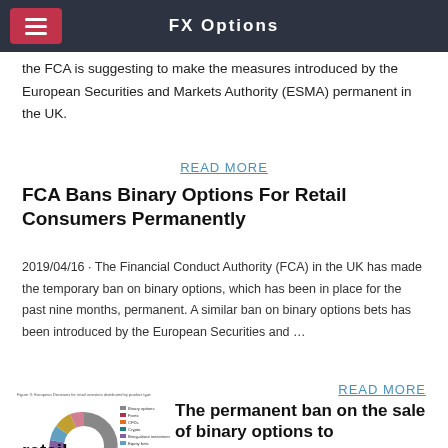FX Options
the FCA is suggesting to make the measures introduced by the European Securities and Markets Authority (ESMA) permanent in the UK.
READ MORE
FCA Bans Binary Options For Retail Consumers Permanently
2019/04/16 · The Financial Conduct Authority (FCA) in the UK has made the temporary ban on binary options, which has been in place for the past nine months, permanent. A similar ban on binary options bets has been introduced by the European Securities and …
READ MORE
[Figure (donut-chart): A donut chart showing European Decisions for retail investors distributed by product type, with a legend listing various investment categories including Binary options, Forex, CFDs, Crypto, Bring-about investments, Equity bets, Mutual funds, Collective investment schemes, Broker training, Other investment products.]
The permanent ban on the sale of binary options to retail